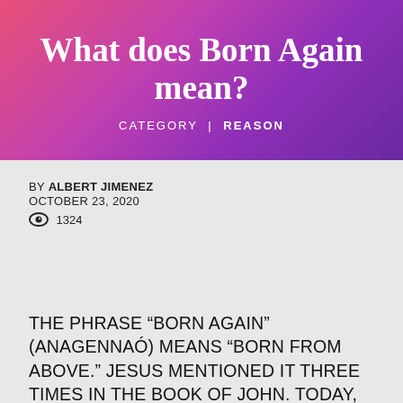What does Born Again mean?
CATEGORY | REASON
BY ALBERT JIMENEZ
OCTOBER 23, 2020
👁 1324
THE PHRASE “BORN AGAIN” (ANAGENNAÓ) MEANS “BORN FROM ABOVE.” JESUS MENTIONED IT THREE TIMES IN THE BOOK OF JOHN. TODAY, IT IS OVERUSED AS A LABEL TO SAY “TRUE CHRISTIAN.”